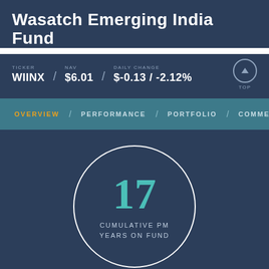Wasatch Emerging India Fund
TICKER WIINX / NAV $6.01 / DAILY CHANGE $-0.13 / -2.12%
OVERVIEW / PERFORMANCE / PORTFOLIO / COMME...
[Figure (infographic): Circle with number 17 inside, labeled CUMULATIVE PM YEARS ON FUND]
India is an excellent source of high-quality companies underpinned by digitalization, financialization, and formalization of the